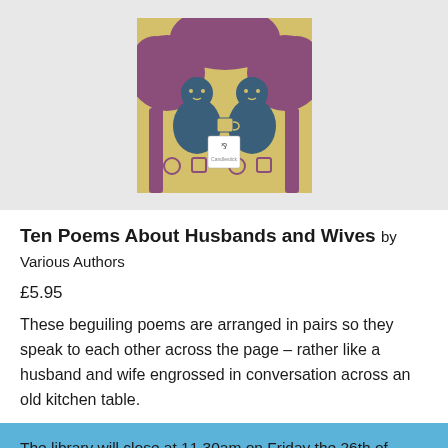[Figure (illustration): Book cover of 'Ten Poems About Husbands and Wives' showing a stylized woodcut/linocut artwork with two figures seated under a tree in blue and mauve/pink tones, with a small publisher logo/badge at the bottom center.]
Ten Poems About Husbands and Wives by Various Authors
£5.95
These beguiling poems are arranged in pairs so they speak to each other across the page – rather like a husband and wife engrossed in conversation across an old kitchen table.
The library will close at 11.30am on Friday the 26th of August, 2022. Dismiss